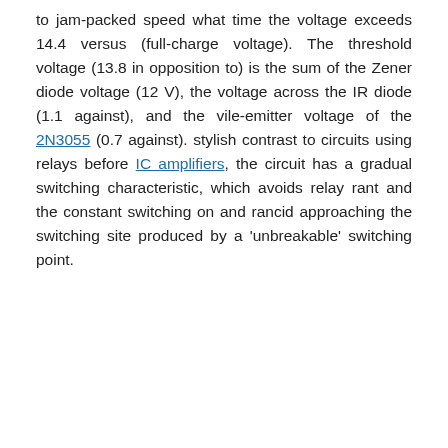to jam-packed speed what time the voltage exceeds 14.4 versus (full-charge voltage). The threshold voltage (13.8 in opposition to) is the sum of the Zener diode voltage (12 V), the voltage across the IR diode (1.1 against), and the vile-emitter voltage of the 2N3055 (0.7 against). stylish contrast to circuits using relays before IC amplifiers, the circuit has a gradual switching characteristic, which avoids relay rant and the constant switching on and rancid approaching the switching site produced by a 'unbreakable' switching point.